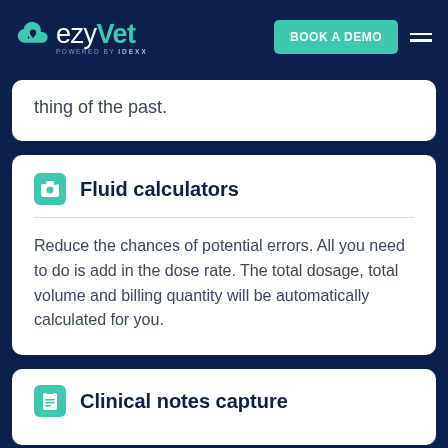ezyVet powered by IDEXX — BOOK A DEMO
thing of the past.
Fluid calculators
Reduce the chances of potential errors. All you need to do is add in the dose rate. The total dosage, total volume and billing quantity will be automatically calculated for you.
Clinical notes capture